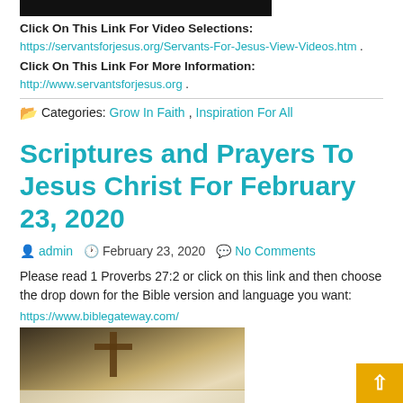[Figure (photo): Dark image at top of page, partially visible]
Click On This Link For Video Selections:
https://servantsforjesus.org/Servants-For-Jesus-View-Videos.htm .
Click On This Link For More Information:
http://www.servantsforjesus.org .
📂 Categories: Grow In Faith, Inspiration For All
Scriptures and Prayers To Jesus Christ For February 23, 2020
admin  February 23, 2020  No Comments
Please read 1 Proverbs 27:2 or click on this link and then choose the drop down for the Bible version and language you want:
https://www.biblegateway.com/
[Figure (photo): Photo of an open Bible on a wooden stand with a cross, on a white cloth-covered surface]